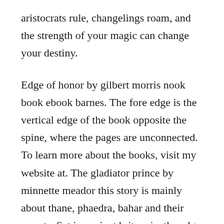aristocrats rule, changelings roam, and the strength of your magic can change your destiny.
Edge of honor by gilbert morris nook book ebook barnes. The fore edge is the vertical edge of the book opposite the spine, where the pages are unconnected. To learn more about the books, visit my website at. The gladiator prince by minnette meador this story is mainly about thane, phaedra, bahar and their secrets. Set in ancient britannia, the edge of honor is complete with gladiator battles, traitorous